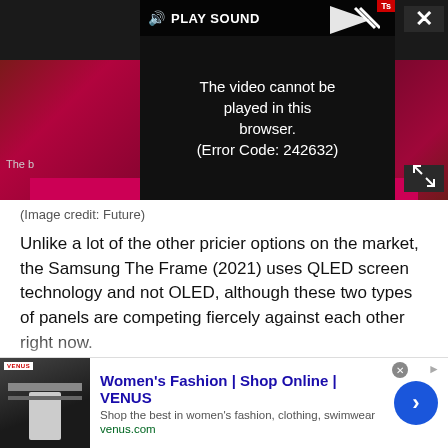[Figure (screenshot): Video player showing error message 'The video cannot be played in this browser. (Error Code: 242632)' with a dark background, play sound button, close button, and expand icon. Red/pink accent colors visible in background.]
(Image credit: Future)
Unlike a lot of the other pricier options on the market, the Samsung The Frame (2021) uses QLED screen technology and not OLED, although these two types of panels are competing fiercely against each other right now.
Screens that use OLED are made up of pixels that emit light by themselves, whereas OLED still passes a backlight
[Figure (screenshot): Advertisement banner for Women's Fashion at VENUS (venus.com) with thumbnail image of website, blue title text, description text, website URL in green, and blue circular arrow button.]